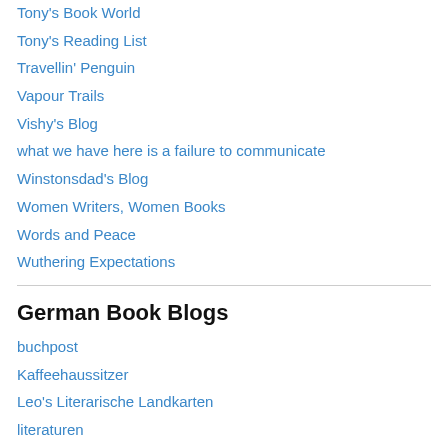Tony's Book World
Tony's Reading List
Travellin' Penguin
Vapour Trails
Vishy's Blog
what we have here is a failure to communicate
Winstonsdad's Blog
Women Writers, Women Books
Words and Peace
Wuthering Expectations
German Book Blogs
buchpost
Kaffeehaussitzer
Leo's Literarische Landkarten
literaturen
Sätze&Schätze